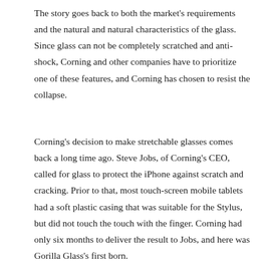The story goes back to both the market's requirements and the natural and natural characteristics of the glass. Since glass can not be completely scratched and anti-shock, Corning and other companies have to prioritize one of these features, and Corning has chosen to resist the collapse.
Corning's decision to make stretchable glasses comes back a long time ago. Steve Jobs, of Corning's CEO, called for glass to protect the iPhone against scratch and cracking. Prior to that, most touch-screen mobile tablets had a soft plastic casing that was suitable for the Stylus, but did not touch the touch with the finger. Corning had only six months to deliver the result to Jobs, and here was Gorilla Glass's first born.